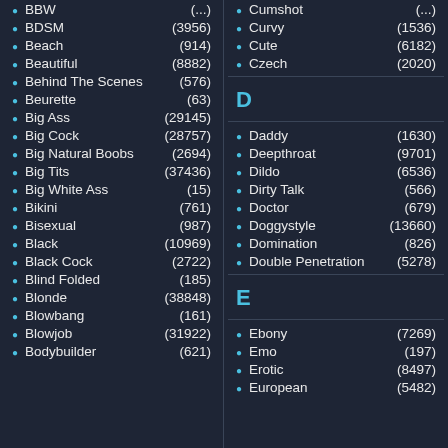BBW (partial top)
BDSM (3956)
Beach (914)
Beautiful (8882)
Behind The Scenes (576)
Beurette (63)
Big Ass (29145)
Big Cock (28757)
Big Natural Boobs (2694)
Big Tits (37436)
Big White Ass (15)
Bikini (761)
Bisexual (987)
Black (10969)
Black Cock (2722)
Blind Folded (185)
Blonde (38848)
Blowbang (161)
Blowjob (31922)
Bodybuilder (621)
Curvy (1536)
Cute (6182)
Czech (2020)
D
Daddy (1630)
Deepthroat (9701)
Dildo (6536)
Dirty Talk (566)
Doctor (679)
Doggystyle (13660)
Domination (826)
Double Penetration (5278)
E
Ebony (7269)
Emo (197)
Erotic (8497)
European (5482)